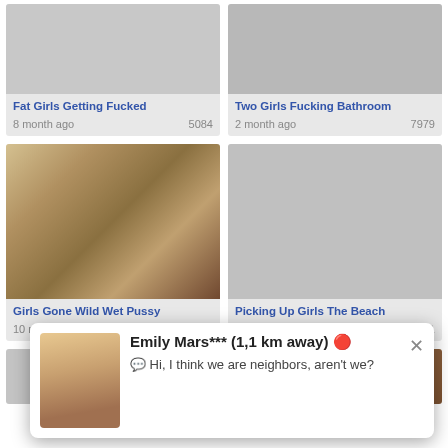[Figure (screenshot): Thumbnail image placeholder gray for Fat Girls Getting Fucked]
Fat Girls Getting Fucked
8 month ago	5084
[Figure (screenshot): Thumbnail image placeholder gray for Two Girls Fucking Bathroom]
Two Girls Fucking Bathroom
2 month ago	7979
[Figure (photo): Photo thumbnail for Girls Gone Wild Wet Pussy]
Girls Gone Wild Wet Pussy
10 month ago	1941
[Figure (screenshot): Thumbnail image placeholder gray for Picking Up Girls The Beach]
Picking Up Girls The Beach
2 month ago	2751
[Figure (screenshot): Partial thumbnail row 3 left]
[Figure (photo): Partial thumbnail row 3 right]
[Figure (screenshot): Popup notification with avatar photo of Emily Mars]